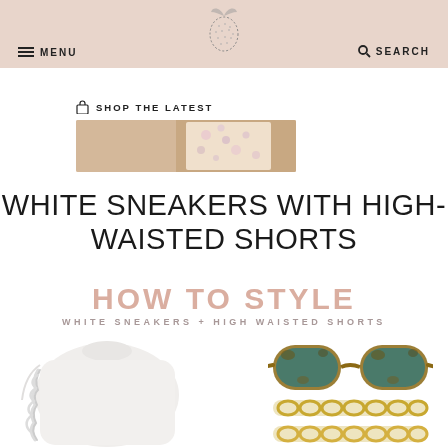MENU | [strawberry logo] | SEARCH
🛍 SHOP THE LATEST
[Figure (photo): Partial photo of a floral outfit/dress in warm beige tones]
WHITE SNEAKERS WITH HIGH-WAISTED SHORTS
[Figure (infographic): HOW TO STYLE / WHITE SNEAKERS + HIGH WAISTED SHORTS — fashion styling graphic with pink and gray text on white background, showing: a white ruffle long-sleeve top, tortoiseshell sunglasses, and two gold chain hair clips]
HOW TO STYLE
WHITE SNEAKERS + HIGH WAISTED SHORTS